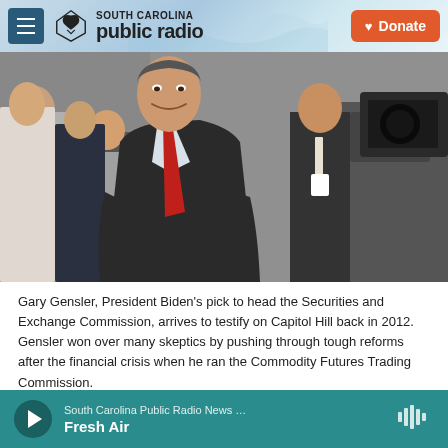South Carolina Public Radio — Donate
[Figure (photo): Gary Gensler, President Biden's pick to head the Securities and Exchange Commission, arriving at Capitol Hill in 2012, wearing a dark suit and red tie, with cameras and people in the background.]
Gary Gensler, President Biden's pick to head the Securities and Exchange Commission, arrives to testify on Capitol Hill back in 2012. Gensler won over many skeptics by pushing through tough reforms after the financial crisis when he ran the Commodity Futures Trading Commission.
South Carolina Public Radio News … Fresh Air